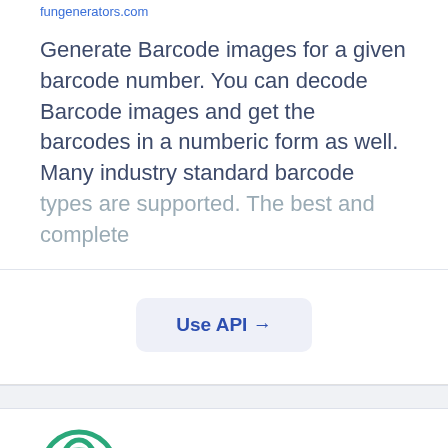fungenerators.com
Generate Barcode images for a given barcode number. You can decode Barcode images and get the barcodes in a numberic form as well. Many industry standard barcode types are supported. The best and complete...
Use API →
[Figure (logo): Semantria logo — green circular interlocking rings icon]
Semantria
semantria.com
Semantria applies Text and Sentiment Analysis to tweets, facebook posts, surveys,